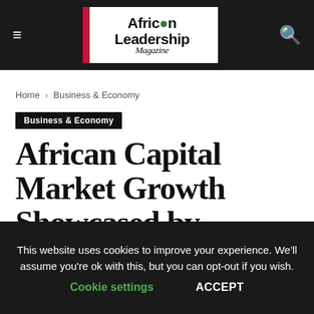African Leadership Magazine
Home › Business & Economy
Business & Economy
African Capital Market Growth Showcased by Increase in ECM Transactions
This website uses cookies to improve your experience. We'll assume you're ok with this, but you can opt-out if you wish. Cookie settings ACCEPT